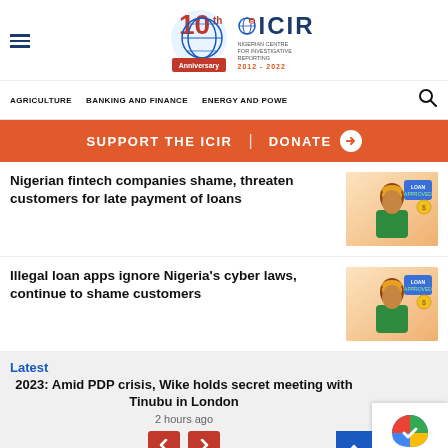ICIR - Nigerian Centre for Investigative Reporting - 10th Anniversary 2012-2022
AGRICULTURE   BANKING AND FINANCE   ENERGY AND POWE
SUPPORT THE ICIR  |  DONATE →
Nigerian fintech companies shame, threaten customers for late payment of loans
[Figure (photo): Man in green outfit with loan approved graphic]
Illegal loan apps ignore Nigeria's cyber laws, continue to shame customers
[Figure (photo): Man in green outfit with loan approved graphic]
Latest
2023: Amid PDP crisis, Wike holds secret meeting with Tinubu in London
2 hours ago